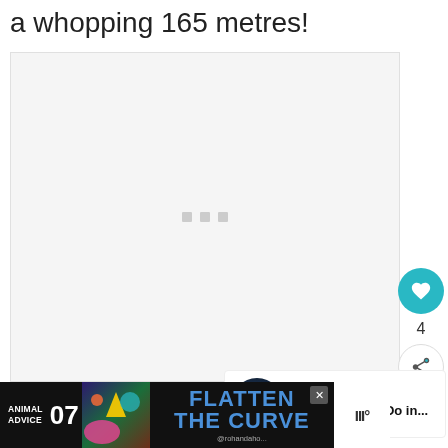a whopping 165 metres!
[Figure (photo): Large image placeholder area with loading indicator (three grey dots)]
[Figure (infographic): Social interaction panel: heart/like button (teal, showing count 4) and share button]
WHAT'S NEXT → Best Things to Do in...
[Figure (infographic): Advertisement banner: ANIMAL ADVICE 07 FLATTEN THE CURVE @rohandaho...]